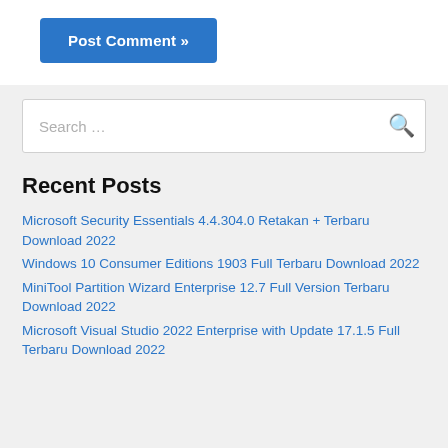Post Comment »
Search …
Recent Posts
Microsoft Security Essentials 4.4.304.0 Retakan + Terbaru Download 2022
Windows 10 Consumer Editions 1903 Full Terbaru Download 2022
MiniTool Partition Wizard Enterprise 12.7 Full Version Terbaru Download 2022
Microsoft Visual Studio 2022 Enterprise with Update 17.1.5 Full Terbaru Download 2022